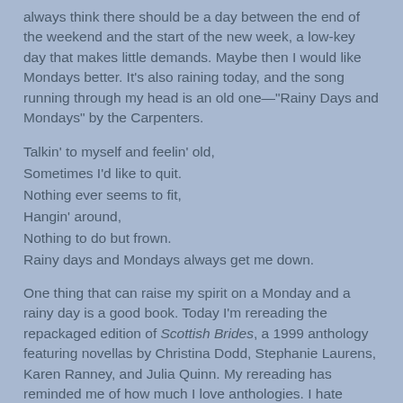always think there should be a day between the end of the weekend and the start of the new week, a low-key day that makes little demands. Maybe then I would like Mondays better. It's also raining today, and the song running through my head is an old one—"Rainy Days and Mondays" by the Carpenters.
Talkin' to myself and feelin' old,
Sometimes I'd like to quit.
Nothing ever seems to fit,
Hangin' around,
Nothing to do but frown.
Rainy days and Mondays always get me down.
One thing that can raise my spirit on a Monday and a rainy day is a good book. Today I'm rereading the repackaged edition of Scottish Brides, a 1999 anthology featuring novellas by Christina Dodd, Stephanie Laurens, Karen Ranney, and Julia Quinn. My rereading has reminded me of how much I love anthologies. I hate piecemeal reading, but usually I'm forced into it. I don't often have the luxury of the free hours it would take to read a book at one sitting. But I